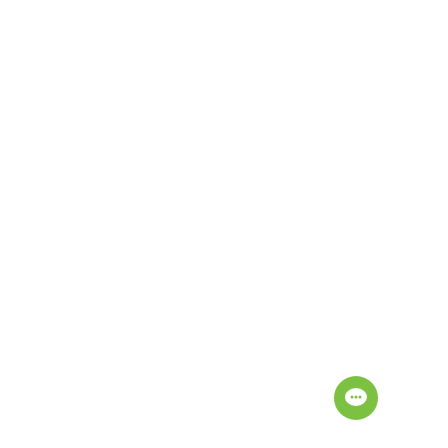ROMANIA - ▣ OLO ZONE2 40373 0.0175
ROMANIA - ▣ OLO ZONE2 40370 0.0175
ROMANIA - ▣ OLO ZONE2 4039 0.0175
ROMANIA - ▣ OLO ZONE2 4038 0.0175
ROMANIA - ▣ ORANGE 4036913 0.0175
ROMANIA - ▣ ORANGE 4036813 0.0175
ROMANIA - ▣ ORANGE 4036713 0.0175
ROMANIA - ▣ ORANGE 4036613 0.0175
ROMANIA - ▣ ORANGE 4036513 0.0175
ROMANIA - ▣ ORANGE 4036413 0.0175
ROMANIA - ▣ ORANGE 4036313 0.0175
ROMANIA - ▣ ORANGE 4036213 0.0175
ROMANIA - ▣ ORANGE 4036113 0.0175
ROMANIA - ▣ ORANGE 4036013 0.0175
ROMANIA - ▣ ORANGE 4035913 0.0175
ROMANIA - ▣ ORANGE 4035813 0.0175
ROMANIA - ▣ ORANGE 4035713 0.0175
ROMANIA - ▣ ORANGE 4035613 0.0175
ROMANIA - ▣ ORANGE 4035513 0.0175
ROMANIA - ▣ ORANGE 4035413 0.0175
ROMANIA - ▣ ORANGE 4035313 0.0175
ROMANIA - ▣ ORANGE 4035213 0.0175
ROMANIA - ▣ ORANGE 4035113 0.0175
ROMANIA - ▣ ORANGE 4035013 0.0175
ROMANIA - ▣ ORANGE 4034913 0.0175